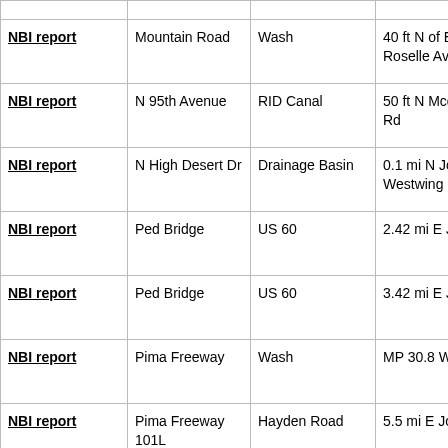| NBI report | Mountain Road | Wash | 40 ft N of E Roselle Ave |
| NBI report | N 95th Avenue | RID Canal | 50 ft N Mcdowell Rd |
| NBI report | N High Desert Dr | Drainage Basin | 0.1 mi N Jct Westwing Pky |
| NBI report | Ped Bridge | US 60 | 2.42 mi E Jct I 10 |
| NBI report | Ped Bridge | US 60 | 3.42 mi E Jct I 10 |
| NBI report | Pima Freeway | Wash | MP 30.8 WB 101 |
| NBI report | Pima Freeway 101L | Hayden Road | 5.5 mi E Jct SR 51 |